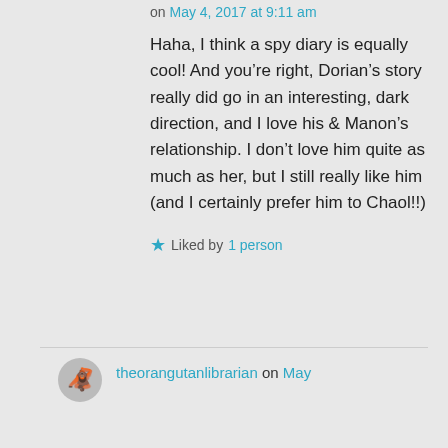on May 4, 2017 at 9:11 am
Haha, I think a spy diary is equally cool! And you’re right, Dorian’s story really did go in an interesting, dark direction, and I love his & Manon’s relationship. I don’t love him quite as much as her, but I still really like him (and I certainly prefer him to Chaol!!)
Liked by 1 person
theorangutanlibrarian on May